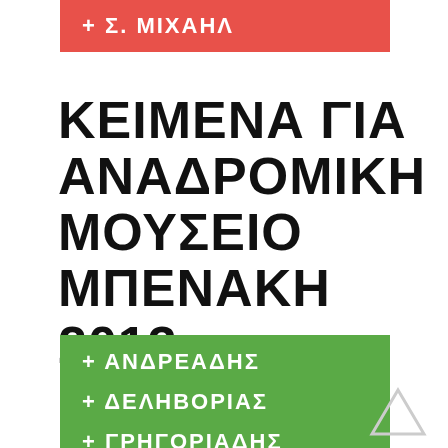+ Σ. ΜΙΧΑΗΛ
ΚΕΙΜΕΝΑ ΓΙΑ ΑΝΑΔΡΟΜΙΚΗ ΜΟΥΣΕΙΟ ΜΠΕΝΑΚΗ 2013
+ ΑΝΔΡΕΑΔΗΣ
+ ΔΕΛΗΒΟΡΙΑΣ
+ ΓΡΗΓΟΡΙΑΔΗΣ